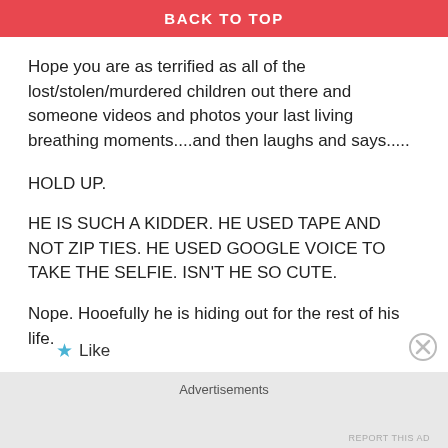BACK TO TOP
Hope you are as terrified as all of the lost/stolen/murdered children out there and someone videos and photos your last living breathing moments....and then laughs and says.....
HOLD UP.
HE IS SUCH A KIDDER. HE USED TAPE AND NOT ZIP TIES. HE USED GOOGLE VOICE TO TAKE THE SELFIE. ISN'T HE SO CUTE.
Nope. Hooefully he is hiding out for the rest of his life.
★ Like
Advertisements